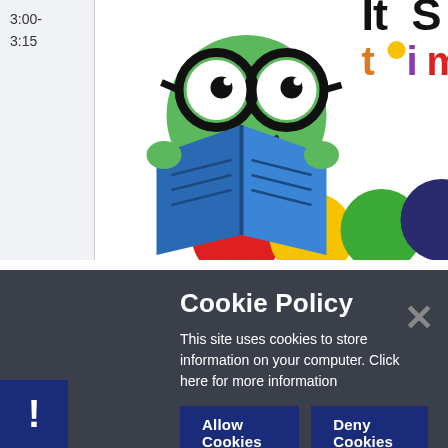3:00-
3:15
[Figure (illustration): Cartoon bookworm caterpillar character wearing large round glasses, reading an open blue book. Colorful circular body segments in red, yellow, green, purple. Text 'It's S Ti' partially visible at top right.]
Cookie Policy
This site uses cookies to store information on your computer. Click here for more information
Allow Cookies
Deny Cookies